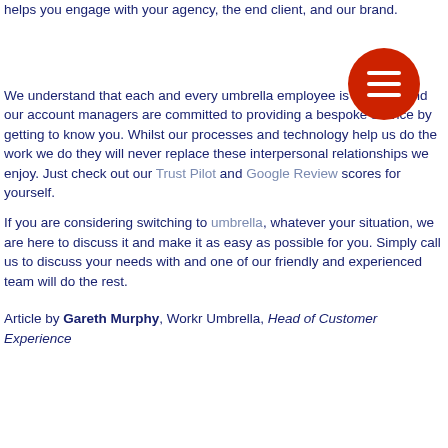helps you engage with your agency, the end client, and our brand.
[Figure (other): Red circular menu button icon with three horizontal white lines (hamburger menu)]
We understand that each and every umbrella employee is different and our account managers are committed to providing a bespoke service by getting to know you. Whilst our processes and technology help us do the work we do they will never replace these interpersonal relationships we enjoy. Just check out our Trust Pilot and Google Review scores for yourself.
If you are considering switching to umbrella, whatever your situation, we are here to discuss it and make it as easy as possible for you. Simply call us to discuss your needs with and one of our friendly and experienced team will do the rest.
Article by Gareth Murphy, Workr Umbrella, Head of Customer Experience